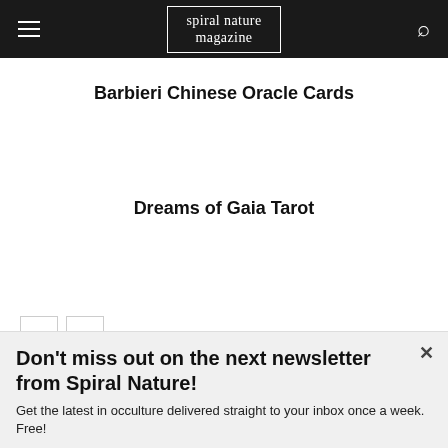spiral nature magazine
Barbieri Chinese Oracle Cards
Dreams of Gaia Tarot
[Figure (other): Navigation arrows: left arrow button and right arrow button]
Don't miss out on the next newsletter from Spiral Nature!
Get the latest in occulture delivered straight to your inbox once a week. Free!